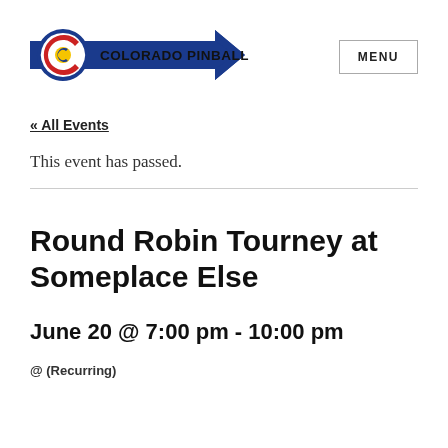[Figure (logo): Colorado Pinball logo: arrow-shaped banner in blue with white stripes, containing the Colorado C logo (red/yellow) on the left and bold text 'COLORADO PINBALL' in the center]
MENU
« All Events
This event has passed.
Round Robin Tourney at Someplace Else
June 20 @ 7:00 pm - 10:00 pm
@ (Recurring)